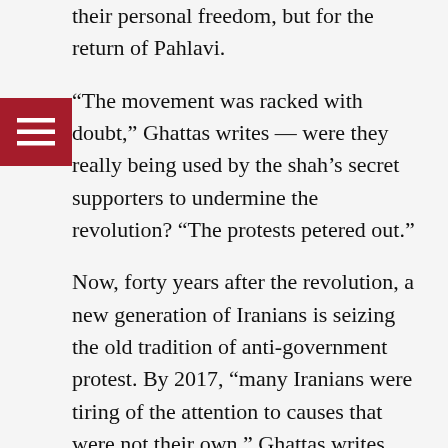their personal freedom, but for the return of Pahlavi.
“The movement was racked with doubt,” Ghattas writes — were they really being used by the shah’s secret supporters to undermine the revolution? “The protests petered out.”
Now, forty years after the revolution, a new generation of Iranians is seizing the old tradition of anti-government protest. By 2017, “many Iranians were tiring of the attention to causes that were not their own,” Ghattas writes. “Their pockets were still empty. But the regime was still spending blood and money in Iraq and Syria.”